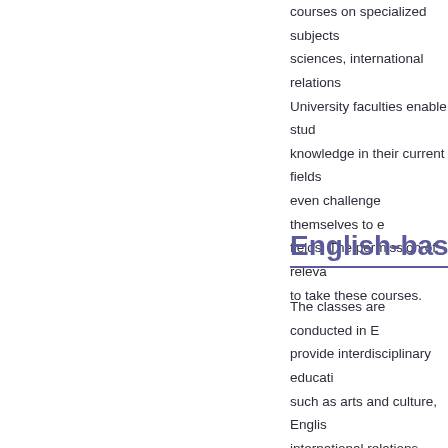courses on specialized subjects sciences, international relations University faculties enable stud knowledge in their current fields even challenge themselves to e fields. The permission of releva to take these courses.
English-based D
The classes are conducted in E provide interdisciplinary educati such as arts and culture, Englis international relations. Exchang with English-based Degree Pro highly proficient in English as th The permission of relevant inst